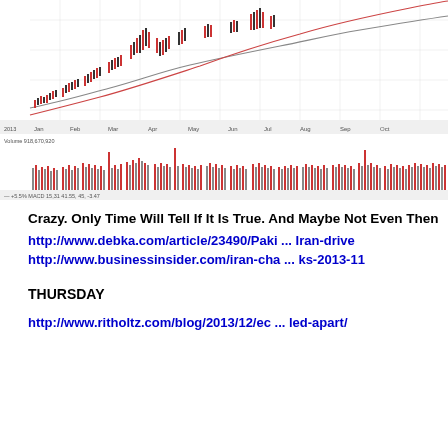[Figure (continuous-plot): Stock market chart showing candlestick price data with moving average curves (upper panel) and volume bars in red and gray (lower panel), spanning from approximately Jan 2013 to Oct 2013.]
Crazy. Only Time Will Tell If It Is True. And Maybe Not Even Then http://www.debka.com/article/23490/Paki ... Iran-drive http://www.businessinsider.com/iran-cha ... ks-2013-11
THURSDAY http://www.ritholtz.com/blog/2013/12/ec ... led-apart/